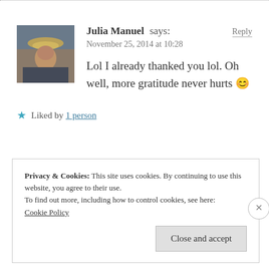[Figure (photo): Avatar photo of Julia Manuel — person wearing a hat, partial face visible, outdoors]
Julia Manuel says: Reply
November 25, 2014 at 10:28
Lol I already thanked you lol. Oh well, more gratitude never hurts 😊
★ Liked by 1 person
Privacy & Cookies: This site uses cookies. By continuing to use this website, you agree to their use.
To find out more, including how to control cookies, see here:
Cookie Policy
[Close and accept]